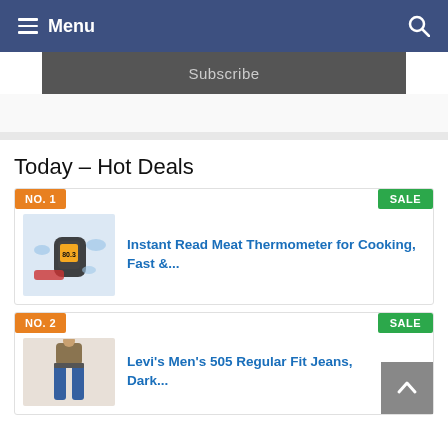Menu
Subscribe
Today – Hot Deals
NO. 1 | SALE | Instant Read Meat Thermometer for Cooking, Fast &...
NO. 2 | SALE | Levi's Men's 505 Regular Fit Jeans, Dark...